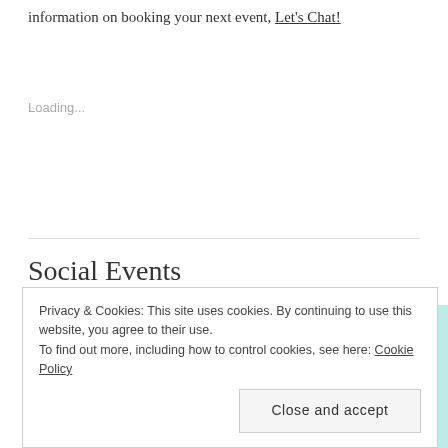information on booking your next event, Let's Chat!
Loading...
Social Events
[Figure (photo): Top-down party food spread with pink frosted sprinkle cake slices, a cup of black coffee, and green circular confetti/decorations on a light blue background]
Privacy & Cookies: This site uses cookies. By continuing to use this website, you agree to their use.
To find out more, including how to control cookies, see here: Cookie Policy
Close and accept